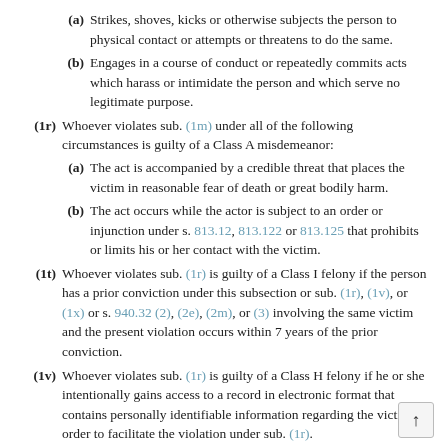(a) Strikes, shoves, kicks or otherwise subjects the person to physical contact or attempts or threatens to do the same.
(b) Engages in a course of conduct or repeatedly commits acts which harass or intimidate the person and which serve no legitimate purpose.
(1r) Whoever violates sub. (1m) under all of the following circumstances is guilty of a Class A misdemeanor:
(a) The act is accompanied by a credible threat that places the victim in reasonable fear of death or great bodily harm.
(b) The act occurs while the actor is subject to an order or injunction under s. 813.12, 813.122 or 813.125 that prohibits or limits his or her contact with the victim.
(1t) Whoever violates sub. (1r) is guilty of a Class I felony if the person has a prior conviction under this subsection or sub. (1r), (1v), or (1x) or s. 940.32 (2), (2e), (2m), or (3) involving the same victim and the present violation occurs within 7 years of the prior conviction.
(1v) Whoever violates sub. (1r) is guilty of a Class H felony if he or she intentionally gains access to a record in electronic format that contains personally identifiable information regarding the victim in order to facilitate the violation under sub. (1r).
(1x) Whoever violates sub. (1r) under all of the following circumstances is guilty of a Class H felony: